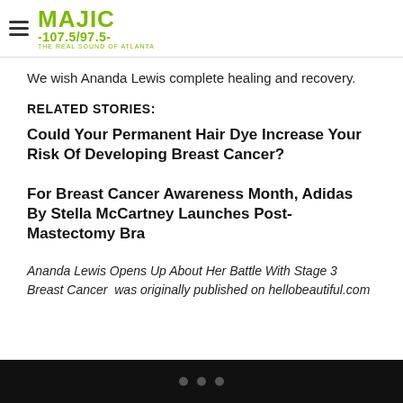MAJIC 107.5/97.5 THE REAL SOUND OF ATLANTA
We wish Ananda Lewis complete healing and recovery.
RELATED STORIES:
Could Your Permanent Hair Dye Increase Your Risk Of Developing Breast Cancer?
For Breast Cancer Awareness Month, Adidas By Stella McCartney Launches Post-Mastectomy Bra
Ananda Lewis Opens Up About Her Battle With Stage 3 Breast Cancer  was originally published on hellobeautiful.com
• • •